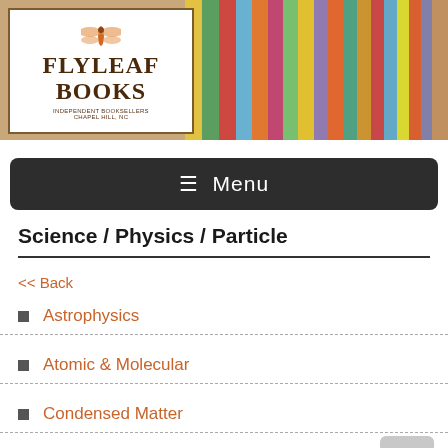[Figure (logo): Flyleaf Books logo with dragonfly image, text 'FLYLEAF BOOKS' and subtitle 'Independent Booksellers Chapel Hill, NC', alongside a row of colorful book spines]
☰ Menu
Science / Physics / Particle
<< Back
Astrophysics
Atomic & Molecular
Condensed Matter